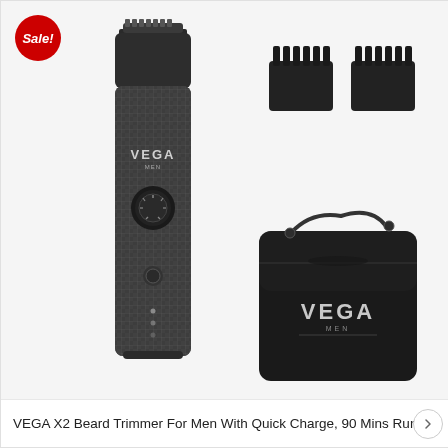[Figure (photo): Product photo of VEGA X2 Beard Trimmer for Men showing the trimmer device with carbon-fiber pattern grip, two black comb attachments, and a black velvet drawstring pouch with VEGA MEN logo. A red Sale badge is in the top-left corner.]
VEGA X2 Beard Trimmer For Men With Quick Charge, 90 Mins Run-